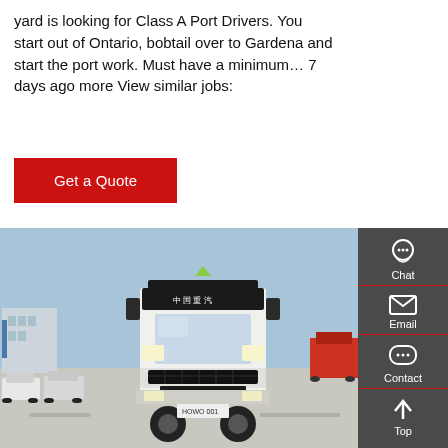yard is looking for Class A Port Drivers. You start out of Ontario, bobtail over to Gardena and start the port work. Must have a minimum… 7 days ago more View similar jobs:
[Figure (other): Red 'Get a Quote' button]
[Figure (photo): Front view of a white HOWO heavy truck (Chinese brand, 中国重汽) parked in a yard with cars and other trucks visible in the background.]
[Figure (infographic): Dark gray sidebar panel with Chat (headset icon), Email (envelope icon), Contact (speech bubble icon), and Top (upward arrow icon) links separated by red lines.]